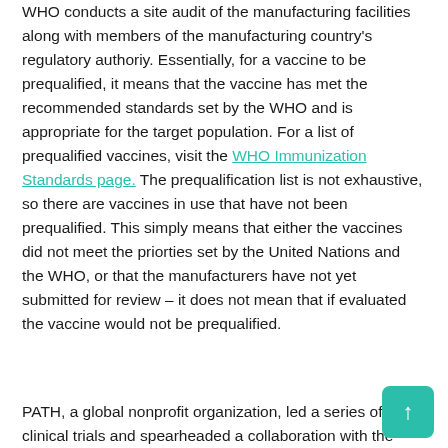WHO conducts a site audit of the manufacturing facilities along with members of the manufacturing country's regulatory authoriy. Essentially, for a vaccine to be prequalified, it means that the vaccine has met the recommended standards set by the WHO and is appropriate for the target population. For a list of prequalified vaccines, visit the WHO Immunization Standards page. The prequalification list is not exhaustive, so there are vaccines in use that have not been prequalified. This simply means that either the vaccines did not meet the priorties set by the United Nations and the WHO, or that the manufacturers have not yet submitted for review – it does not mean that if evaluated the vaccine would not be prequalified.
PATH, a global nonprofit organization, led a series of clinical trials and spearheaded a collaboration with the